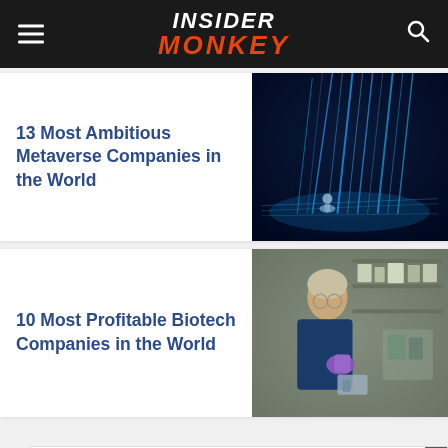INSIDER MONKEY
13 Most Ambitious Metaverse Companies in the World
[Figure (photo): Blue digital metaverse scene with glowing light streams and a small robot or figure in the foreground]
10 Most Profitable Biotech Companies in the World
[Figure (photo): Scientist in blue jacket and purple gloves working in a biotech laboratory]